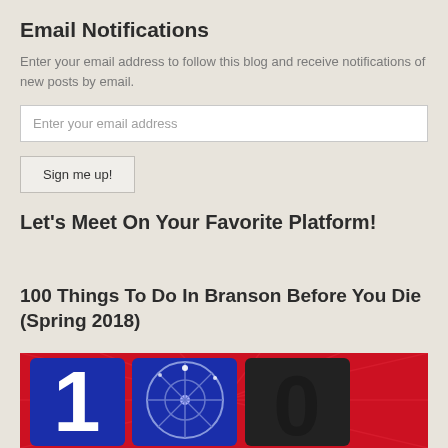Email Notifications
Enter your email address to follow this blog and receive notifications of new posts by email.
Enter your email address
Sign me up!
Let’s Meet On Your Favorite Platform!
100 Things To Do In Branson Before You Die (Spring 2018)
[Figure (photo): Red background image showing large blue numbers '100' with fireworks/amusement park imagery, partially cropped at bottom of page]